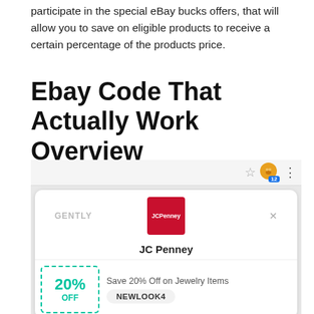participate in the special eBay bucks offers, that will allow you to save on eligible products to receive a certain percentage of the products price.
Ebay Code That Actually Work Overview
[Figure (screenshot): A browser screenshot showing a coupon extension popup with GENTLY branding and a JC Penney 20% OFF coupon with code NEWLOOK4 for jewelry items.]